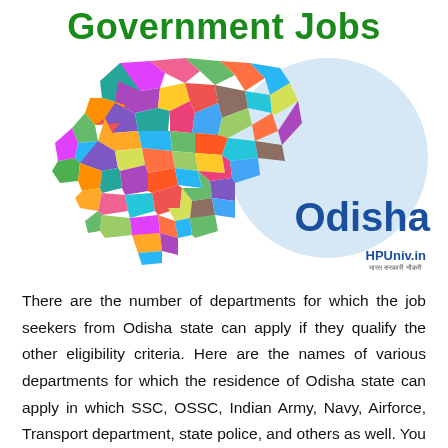Government Jobs
[Figure (map): Colorful district map of Odisha state with circle background and 'Odisha' label and HPUniv.in branding]
There are the number of departments for which the job seekers from Odisha state can apply if they qualify the other eligibility criteria. Here are the names of various departments for which the residence of Odisha state can apply in which SSC, OSSC, Indian Army, Navy, Airforce, Transport department, state police, and others as well. You can get these